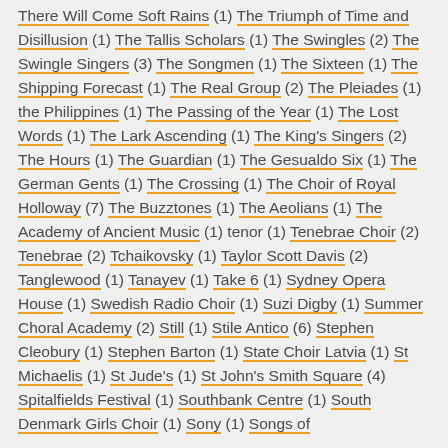There Will Come Soft Rains (1) The Triumph of Time and Disillusion (1) The Tallis Scholars (1) The Swingles (2) The Swingle Singers (3) The Songmen (1) The Sixteen (1) The Shipping Forecast (1) The Real Group (2) The Pleiades (1) the Philippines (1) The Passing of the Year (1) The Lost Words (1) The Lark Ascending (1) The King's Singers (2) The Hours (1) The Guardian (1) The Gesualdo Six (1) The German Gents (1) The Crossing (1) The Choir of Royal Holloway (7) The Buzztones (1) The Aeolians (1) The Academy of Ancient Music (1) tenor (1) Tenebrae Choir (2) Tenebrae (2) Tchaikovsky (1) Taylor Scott Davis (2) Tanglewood (1) Tanayev (1) Take 6 (1) Sydney Opera House (1) Swedish Radio Choir (1) Suzi Digby (1) Summer Choral Academy (2) Still (1) Stile Antico (6) Stephen Cleobury (1) Stephen Barton (1) State Choir Latvia (1) St Michaelis (1) St Jude's (1) St John's Smith Square (4) Spitalfields Festival (1) Southbank Centre (1) South Denmark Girls Choir (1) Sony (1) Songs of